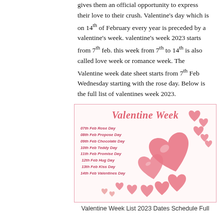gives them an official opportunity to express their love to their crush. Valentine's day which is on 14th of February every year is preceded by a valentine's week. valentine's week 2023 starts from 7th feb. this week from 7th to 14th is also called love week or romance week. The Valentine week date sheet starts from 7th Feb Wednesday starting with the rose day. Below is the full list of valentines week 2023.
[Figure (illustration): Valentine Week infographic with title 'Valentine Week' in pink italic text, listing dates: 07th Feb Rose Day, 08th Feb Propose Day, 09th Feb Chocolate Day, 10th Feb Teddy Day, 11th Feb Promise Day, 12th Feb Hug Day, 13th Feb Kiss Day, 14th Feb Valentines Day. Decorated with pink/red heart illustrations of various sizes arranged in a cascading pattern on the right side.]
Valentine Week List 2023 Dates Schedule Full